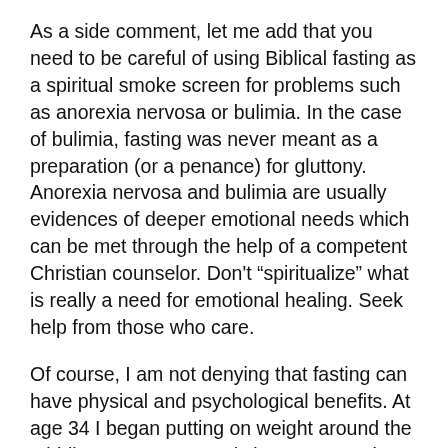As a side comment, let me add that you need to be careful of using Biblical fasting as a spiritual smoke screen for problems such as anorexia nervosa or bulimia. In the case of bulimia, fasting was never meant as a preparation (or a penance) for gluttony. Anorexia nervosa and bulimia are usually evidences of deeper emotional needs which can be met through the help of a competent Christian counselor. Don't “spiitualize” what is really a need for emotional healing. Seek help from those who care.
Of course, I am not denying that fasting can have physical and psychological benefits. At age 34 I began putting on weight around the middle. I grew 20 pounds in one year. Since I have been fasting on a regular basis the weight gain has stopped and I feel and look better. But I don’t fast to keep my weight down. I fast to seek God.
Additionally, many Christians testify to possessing a greater amount of discipline in their lives once they